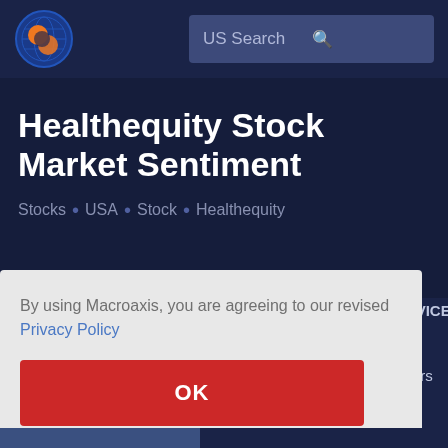US Search
Healthequity Stock Market Sentiment
Stocks . USA . Stock . Healthequity
By using Macroaxis, you are agreeing to our revised Privacy Policy
OK
ADVICE
ers